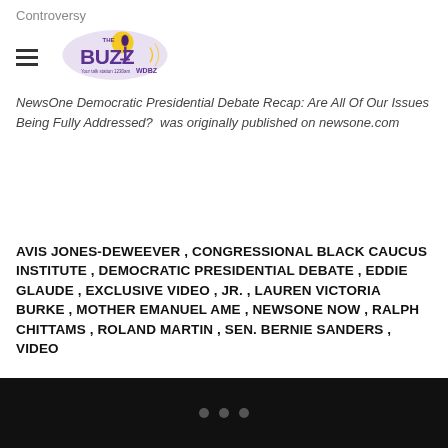Controversy
[Figure (logo): The Buzz WDBZ 1230am radio station logo with purple and gold microphone graphic]
NewsOne Democratic Presidential Debate Recap: Are All Of Our Issues Being Fully Addressed?  was originally published on newsone.com
AVIS JONES-DEWEEVER , CONGRESSIONAL BLACK CAUCUS INSTITUTE , DEMOCRATIC PRESIDENTIAL DEBATE , EDDIE GLAUDE , EXCLUSIVE VIDEO , JR. , LAUREN VICTORIA BURKE , MOTHER EMANUEL AME , NEWSONE NOW , RALPH CHITTAMS , ROLAND MARTIN , SEN. BERNIE SANDERS , VIDEO
• • •